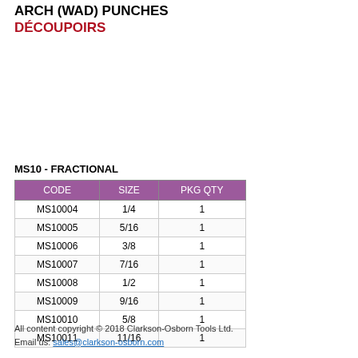ARCH (WAD) PUNCHES
DÉCOUPOIRS
MS10 - FRACTIONAL
| CODE | SIZE | PKG QTY |
| --- | --- | --- |
| MS10004 | 1/4 | 1 |
| MS10005 | 5/16 | 1 |
| MS10006 | 3/8 | 1 |
| MS10007 | 7/16 | 1 |
| MS10008 | 1/2 | 1 |
| MS10009 | 9/16 | 1 |
| MS10010 | 5/8 | 1 |
| MS10011 | 11/16 | 1 |
All content copyright © 2018 Clarkson-Osborn Tools Ltd.
Email us: sales@clarkson-osborn.com